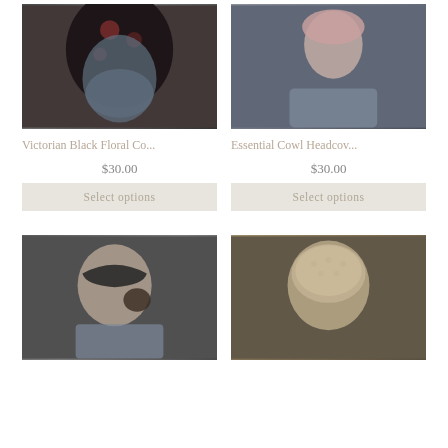[Figure (photo): Woman wearing a dark floral headcovering, holding it up near her face, dark background]
[Figure (photo): Woman in profile wearing a pink/mauve cowl headcovering, grey top, dark background]
Victorian Black Floral Co...
Essential Cowl Headcov...
$30.00
$30.00
Select options
Select options
[Figure (photo): Woman in profile wearing a dark headband/turban style covering, hair in bun, blue top]
[Figure (photo): Woman from behind wearing a beige floral lace headcovering]